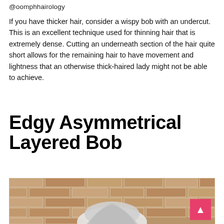@oomphhairology
If you have thicker hair, consider a wispy bob with an undercut. This is an excellent technique used for thinning hair that is extremely dense. Cutting an underneath section of the hair quite short allows for the remaining hair to have movement and lightness that an otherwise thick-haired lady might not be able to achieve.
Edgy Asymmetrical Layered Bob
[Figure (photo): Photo of a woman with a layered bob hairstyle in silver/grey color, standing in front of a brick wall. A pink scroll-to-top button is visible in the bottom-right corner.]